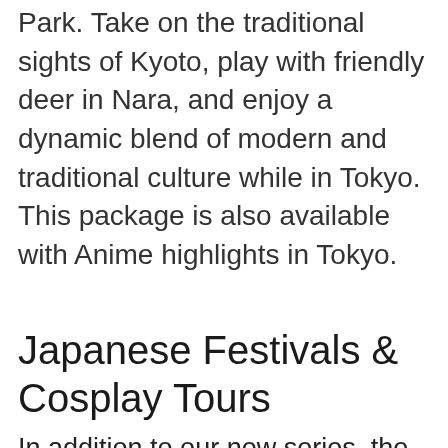Park. Take on the traditional sights of Kyoto, play with friendly deer in Nara, and enjoy a dynamic blend of modern and traditional culture while in Tokyo. This package is also available with Anime highlights in Tokyo.
Japanese Festivals & Cosplay Tours
In addition to our new series, the Best of Japan tours, Japan Deluxe Tours is also updating our Gion Festival Tour series to include an anime cosplay experience during the Gion Festival. If you've ever seen a slice-of-life anime, follow J-dramas, or ever seen photos of Japanese festivals, you should love our new offering.